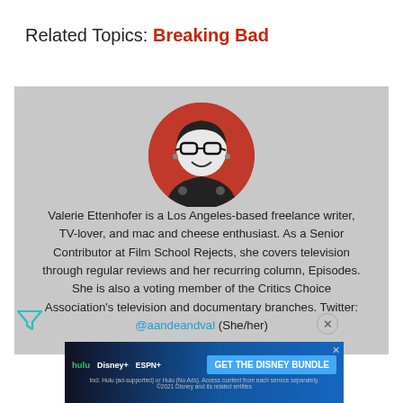Related Topics: Breaking Bad
[Figure (photo): Circular author headshot of Valerie Ettenhofer with red background, black and white photo, woman with glasses smiling]
Valerie Ettenhofer is a Los Angeles-based freelance writer, TV-lover, and mac and cheese enthusiast. As a Senior Contributor at Film School Rejects, she covers television through regular reviews and her recurring column, Episodes. She is also a voting member of the Critics Choice Association's television and documentary branches. Twitter: @aandeandval (She/her)
[Figure (screenshot): Disney Bundle advertisement banner: Hulu, Disney+, ESPN+ logos with 'GET THE DISNEY BUNDLE' call to action button. Fine print reads: Incl. Hulu (ad-supported) or Hulu (No Ads). Access content from each service separately. ©2021 Disney and its related entities]